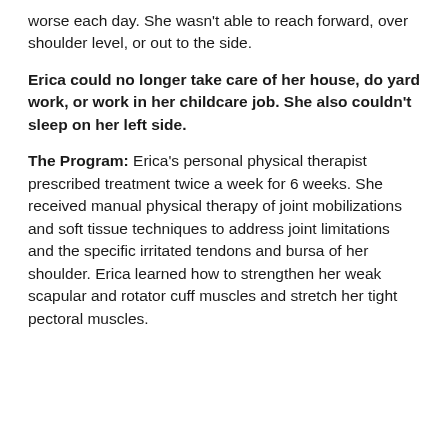worse each day. She wasn't able to reach forward, over shoulder level, or out to the side.
Erica could no longer take care of her house, do yard work, or work in her childcare job. She also couldn't sleep on her left side.
The Program: Erica's personal physical therapist prescribed treatment twice a week for 6 weeks. She received manual physical therapy of joint mobilizations and soft tissue techniques to address joint limitations and the specific irritated tendons and bursa of her shoulder. Erica learned how to strengthen her weak scapular and rotator cuff muscles and stretch her tight pectoral muscles.